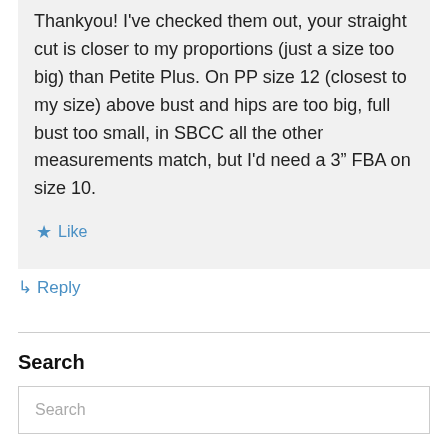Thankyou! I've checked them out, your straight cut is closer to my proportions (just a size too big) than Petite Plus. On PP size 12 (closest to my size) above bust and hips are too big, full bust too small, in SBCC all the other measurements match, but I'd need a 3" FBA on size 10.
Like
Reply
Search